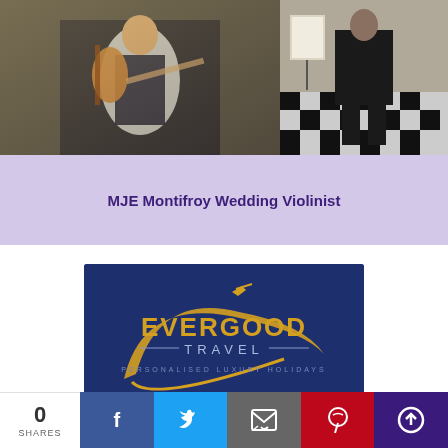[Figure (photo): Two photos side by side: left shows a man playing violin in formal attire, right shows a person standing near a piano in a checkered floor venue]
MJE Montifroy Wedding Violinist
[Figure (logo): Evergood Travel logo — dark navy blue background with gold swoosh/arc design, text reading EVERGOOD TRAVEL PERSONALISED LUXURY HOLIDAYS]
0 SHARES | Facebook | Twitter | Email | Pinterest | Upload